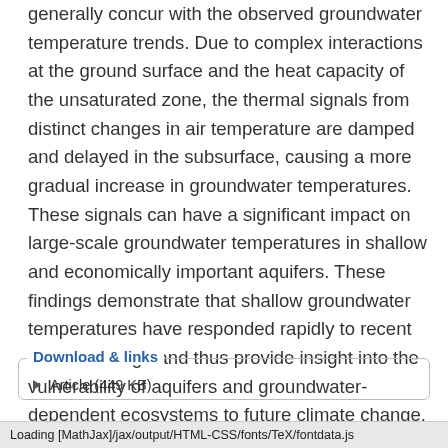generally concur with the observed groundwater temperature trends. Due to complex interactions at the ground surface and the heat capacity of the unsaturated zone, the thermal signals from distinct changes in air temperature are damped and delayed in the subsurface, causing a more gradual increase in groundwater temperatures. These signals can have a significant impact on large-scale groundwater temperatures in shallow and economically important aquifers. These findings demonstrate that shallow groundwater temperatures have responded rapidly to recent climate change and thus provide insight into the vulnerability of aquifers and groundwater-dependent ecosystems to future climate change.
Download & links
Article (449 KB)
Loading [MathJax]/jax/output/HTML-CSS/fonts/TeX/fontdata.js